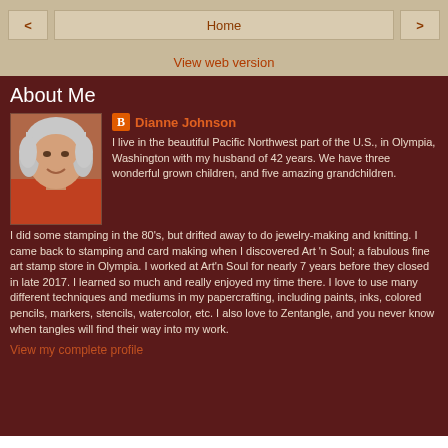< | Home | >
View web version
About Me
[Figure (photo): Profile photo of Dianne Johnson, a woman with gray hair wearing a red top, smiling]
Dianne Johnson
I live in the beautiful Pacific Northwest part of the U.S., in Olympia, Washington with my husband of 42 years. We have three wonderful grown children, and five amazing grandchildren. I did some stamping in the 80's, but drifted away to do jewelry-making and knitting. I came back to stamping and card making when I discovered Art 'n Soul; a fabulous fine art stamp store in Olympia. I worked at Art'n Soul for nearly 7 years before they closed in late 2017. I learned so much and really enjoyed my time there. I love to use many different techniques and mediums in my papercrafting, including paints, inks, colored pencils, markers, stencils, watercolor, etc. I also love to Zentangle, and you never know when tangles will find their way into my work.
View my complete profile